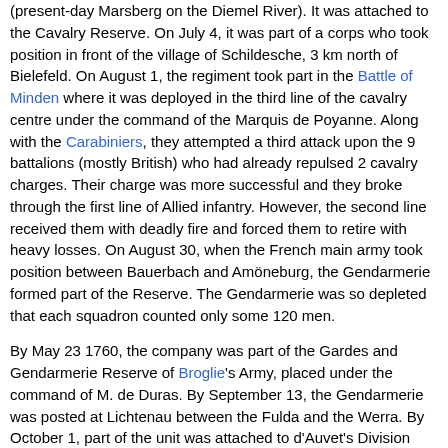(present-day Marsberg on the Diemel River). It was attached to the Cavalry Reserve. On July 4, it was part of a corps who took position in front of the village of Schildesche, 3 km north of Bielefeld. On August 1, the regiment took part in the Battle of Minden where it was deployed in the third line of the cavalry centre under the command of the Marquis de Poyanne. Along with the Carabiniers, they attempted a third attack upon the 9 battalions (mostly British) who had already repulsed 2 cavalry charges. Their charge was more successful and they broke through the first line of Allied infantry. However, the second line received them with deadly fire and forced them to retire with heavy losses. On August 30, when the French main army took position between Bauerbach and Amöneburg, the Gendarmerie formed part of the Reserve. The Gendarmerie was so depleted that each squadron counted only some 120 men.
By May 23 1760, the company was part of the Gardes and Gendarmerie Reserve of Broglie's Army, placed under the command of M. de Duras. By September 13, the Gendarmerie was posted at Lichtenau between the Fulda and the Werra. By October 1, part of the unit was attached to d'Auvet's Division which was instructed to march towards Hachenburg. On October 13, the unit arrived at Neuss with Castries. On October 16, the Gendarmerie de France, under the Marquis de Lugeac, fought in the Battle of Clostercamp where it formed part of the Reserve deployed behind the left wing. On October 21, Castries sent the unit to Andernach. On November 1, the unit who had heavily suffered at Clostercamp, left Andernach and marched back to Thionville in France.